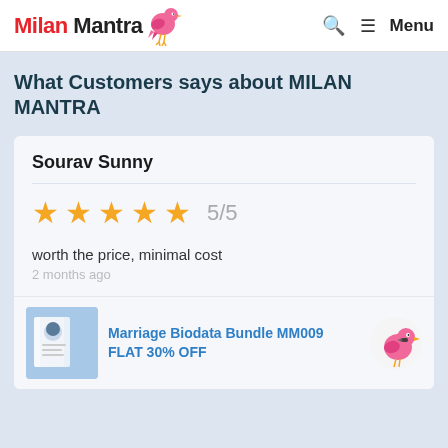Milan Mantra | Menu
What Customers says about MILAN MANTRA
Sourav Sunny
5/5
worth the price, minimal cost
2 months ago
Marriage Biodata Bundle MM009 FLAT 30% OFF